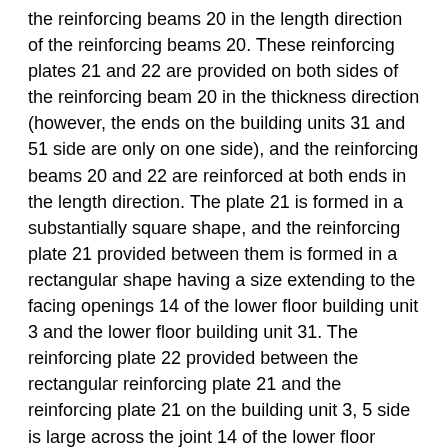the reinforcing beams 20 in the length direction of the reinforcing beams 20. These reinforcing plates 21 and 22 are provided on both sides of the reinforcing beam 20 in the thickness direction (however, the ends on the building units 31 and 51 side are only on one side), and the reinforcing beams 20 and 22 are reinforced at both ends in the length direction. The plate 21 is formed in a substantially square shape, and the reinforcing plate 21 provided between them is formed in a rectangular shape having a size extending to the facing openings 14 of the lower floor building unit 3 and the lower floor building unit 31. The reinforcing plate 22 provided between the rectangular reinforcing plate 21 and the reinforcing plate 21 on the building unit 3, 5 side is large across the joint 14 of the lower floor building unit 3 that is opposed by a predetermined distance L. It is formed in a rectangular shape. The reinforcing plates 21 at both ends in the length direction connect the joints 14 constituting the tops of the respective outer pillars 10 in the lower-floor building unit 3 adjacent in one direction.
That is, the engagement pins 15 and 16 are provided upright at the top of the column 10 and the upper end of the joint 14 of the columns constituting connection. A cou...